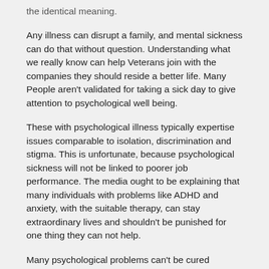the identical meaning.
Any illness can disrupt a family, and mental sickness can do that without question. Understanding what we really know can help Veterans join with the companies they should reside a better life. Many People aren't validated for taking a sick day to give attention to psychological well being.
These with psychological illness typically expertise issues comparable to isolation, discrimination and stigma. This is unfortunate, because psychological sickness will not be linked to poorer job performance. The media ought to be explaining that many individuals with problems like ADHD and anxiety, with the suitable therapy, can stay extraordinary lives and shouldn't be punished for one thing they can not help.
Many psychological problems can't be cured however the signs will be helped so you can dwell with out struggling each day. There are numerous methods individuals with mental health problems would possibly receive treatment. An attention-grabbing animal examine discovered that physical and mental exercises assist improve schizophrenia signs.